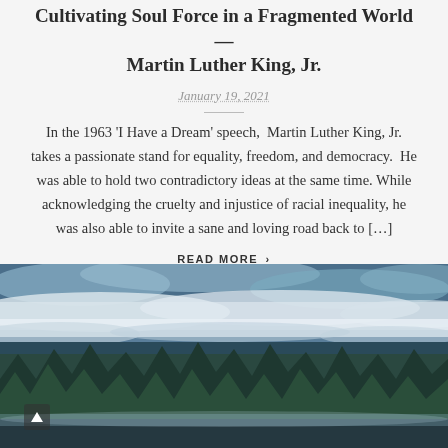Cultivating Soul Force in a Fragmented World — Martin Luther King, Jr.
January 19, 2021
In the 1963 'I Have a Dream' speech,  Martin Luther King, Jr. takes a passionate stand for equality, freedom, and democracy.  He was able to hold two contradictory ideas at the same time. While acknowledging the cruelty and injustice of racial inequality, he was also able to invite a sane and loving road back to […]
READ MORE ›
[Figure (photo): Misty lakeside forest scene with evergreen trees reflected in calm water, low clouds drifting through mountain forests in blue-grey tones]